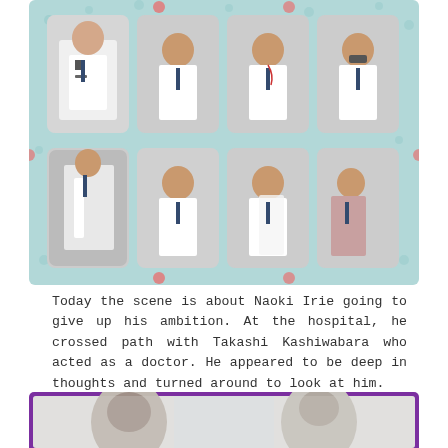[Figure (photo): A collage of 8 photos showing a young man (Naoki Irie) in a white doctor's coat and tie in various hospital scenes]
Today the scene is about Naoki Irie going to give up his ambition. At the hospital, he crossed path with Takashi Kashiwabara who acted as a doctor. He appeared to be deep in thoughts and turned around to look at him.
[Figure (photo): Two young men facing each other in a hospital corridor, one with dark hair on the left and one on the right smiling, inside a purple-bordered frame]